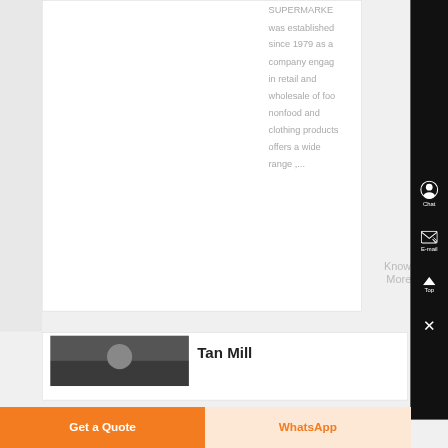SUPERMARKE was established since 1979 as a company engag in retail and wholesale of foo nonfood and clothing products offers a wide range ,...
Know More
Tan Mill
[Figure (screenshot): Chat and E-mail contact icons on black right sidebar]
[Figure (photo): Small thumbnail image in second card]
Get a Quote
WhatsApp